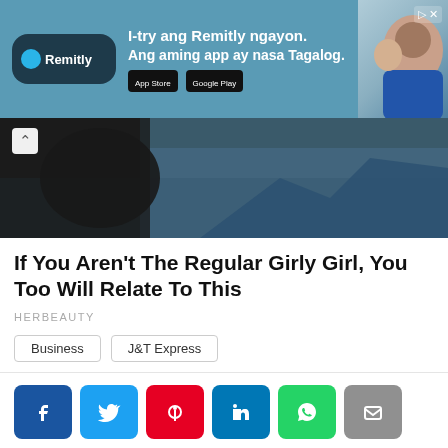[Figure (illustration): Remitly advertisement banner with teal background, logo, tagline in Tagalog, app store buttons, and people smiling on the right]
[Figure (photo): Hero image showing a person in winter gear with snowy mountains and trees in background]
If You Aren't The Regular Girly Girl, You Too Will Relate To This
HERBEAUTY
Business | J&T Express
[Figure (infographic): Social media share buttons row: Facebook, Twitter, Pinterest, LinkedIn, WhatsApp, Email]
< OLDER
How to upgrade/update SatLite Box using Phone
NEWER >
LIST of J&T Express Branches in Agusan del Norte